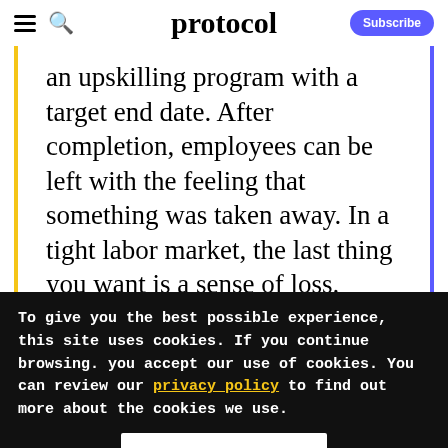protocol — Subscribe
an upskilling program with a target end date. After completion, employees can be left with the feeling that something was taken away. In a tight labor market, the last thing you want is a sense of loss. Additionally, digital acceleration necessitates continuous learning just to
To give you the best possible experience, this site uses cookies. If you continue browsing. you accept our use of cookies. You can review our privacy policy to find out more about the cookies we use.
Accept